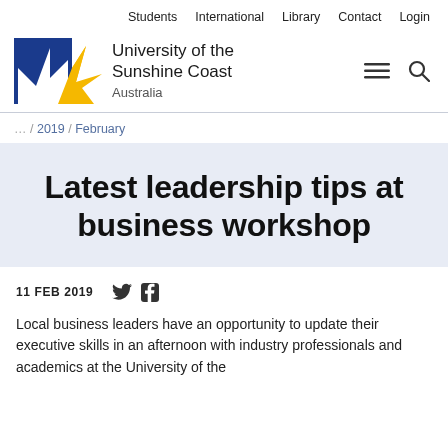Students   International   Library   Contact   Login
[Figure (logo): University of the Sunshine Coast Australia logo — blue square with white star shape and gold sunburst, with text 'University of the Sunshine Coast Australia']
… / 2019 / February
Latest leadership tips at business workshop
11 FEB 2019
Local business leaders have an opportunity to update their executive skills in an afternoon with industry professionals and academics at the University of the